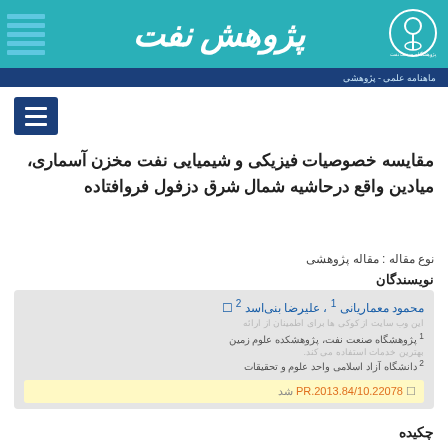[Figure (logo): Journal header banner with teal background, Persian title 'Pajoohesh Naft', horizontal blue stripes on the left, and a circular logo on the right]
ماهنامه علمی - پژوهشی
[Figure (other): Dark blue hamburger menu button]
مقایسه خصوصیات فیزیکی و شیمیایی نفت مخزن آسماری، میادین واقع درحاشیه شمال شرق دزفول فروافتاده
نوع مقاله : مقاله پژوهشی
نویسندگان
محمود معماریانی 1 ، علیرضا بنی اسد 2
1 پژوهشگاه صنعت نفت، پژوهشکده علوم زمین
2 دانشگاه آزاد اسلامی واحد علوم و تحقیقات
10.22078/PR.2013.84
چکیده